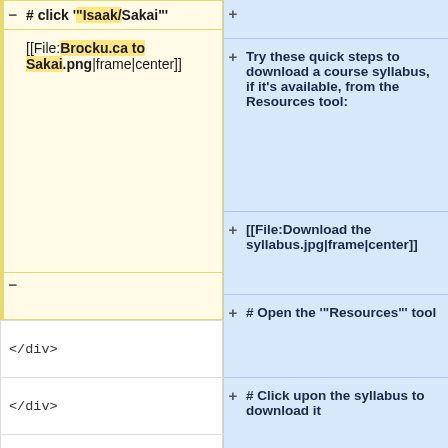# click '"Isaak/Sakai"'
[[File:Brocku.ca to Sakai.png|frame|center]]
+
Try these quick steps to download a course syllabus, if it's available, from the Resources tool:
[[File:Download the syllabus.jpg|frame|center]]
# Open the '"Resources"' tool
# Click upon the syllabus to download it
</div>
</div>
</div>
</div>
<div class="toccolours mw-collapsible mw-collapsed">
<div class="toccolours mw-collapsible mw-collapsed" data-